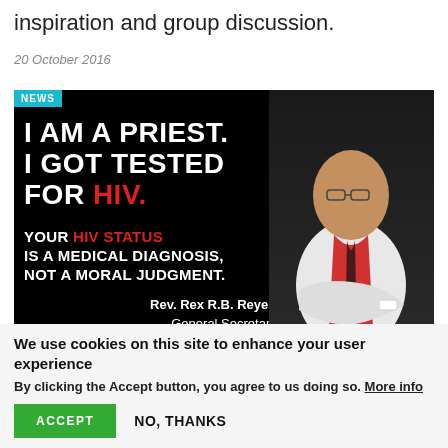inspiration and group discussion.
20 October 2016
[Figure (photo): News photo with black background showing a priest in white vestments with red stole and text: 'I AM A PRIEST. I GOT TESTED FOR HIV. YOUR HIV STATUS IS A MEDICAL DIAGNOSIS, NOT A MORAL JUDGMENT.' Attribution: Rev. Rex R.B. Reyes, Jr., General Secretary, National Council of Churches]
We use cookies on this site to enhance your user experience
By clicking the Accept button, you agree to us doing so. More info
ACCEPT
NO, THANKS